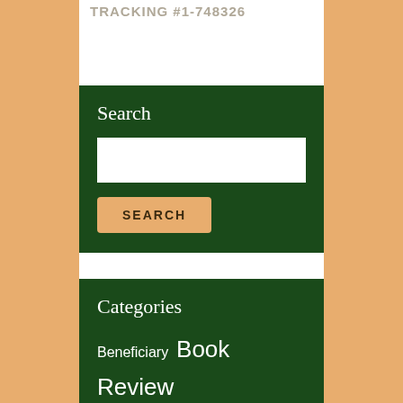TRACKING #1-748326
Search
SEARCH
Categories
Beneficiary Book Review Business Cancer Client Stories Credit Management